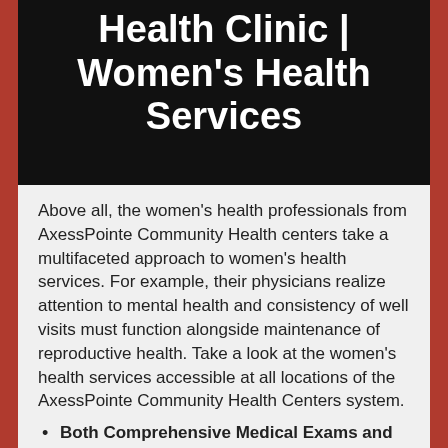Health Clinic | Women's Health Services
Above all, the women's health professionals from AxessPointe Community Health centers take a multifaceted approach to women's health services. For example, their physicians realize attention to mental health and consistency of well visits must function alongside maintenance of reproductive health. Take a look at the women's health services accessible at all locations of the AxessPointe Community Health Centers system.
Both Comprehensive Medical Exams and Pharmacy Services
Women's Well Checks
Both Gynecological and Pregnancy Care
High-Risk Pregnancy Care
Both Gynecological Examinations and...